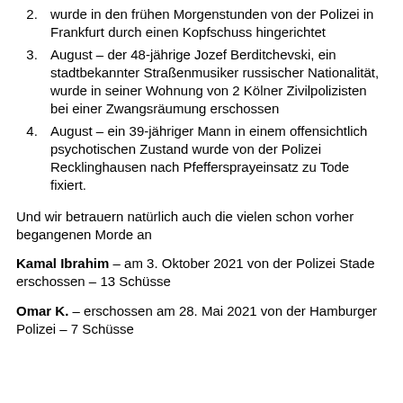wurde in den frühen Morgenstunden von der Polizei in Frankfurt durch einen Kopfschuss hingerichtet
3. August – der 48-jährige Jozef Berditchevski, ein stadtbekannter Straßenmusiker russischer Nationalität, wurde in seiner Wohnung von 2 Kölner Zivilpolizisten bei einer Zwangsräumung erschossen
4. August – ein 39-jähriger Mann in einem offensichtlich psychotischen Zustand wurde von der Polizei Recklinghausen nach Pfeffersprayeinsatz zu Tode fixiert.
Und wir betrauern natürlich auch die vielen schon vorher begangenen Morde an
Kamal Ibrahim – am 3. Oktober 2021 von der Polizei Stade erschossen – 13 Schüsse
Omar K. – erschossen am 28. Mai 2021 von der Hamburger Polizei – 7 Schüsse